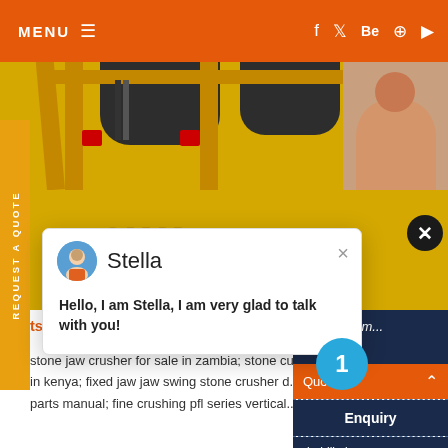MENU ≡
[Figure (screenshot): Website header with orange menu bar, social media icons (facebook, twitter, Behance, Pinterest, YouTube), and industrial yellow machinery background image showing cone crushers on yellow steel frames]
REQUEST A QUOTE
[Figure (screenshot): Chat popup widget showing avatar of Stella (customer service agent), name 'Stella', and message: Hello, I am Stella, I am very glad to talk with you!]
Hello, I am Stella, I am very glad to talk with you!
tspruit stone crusher - proficiency-fp7eu
stone jaw crusher for sale in zambia; stone cu... in kenya; fixed jaw jaw swing stone crusher d... parts manual; fine crushing pfl series vertical...
Have any ... click here.
Quot...
Enquiry
drobilkalm